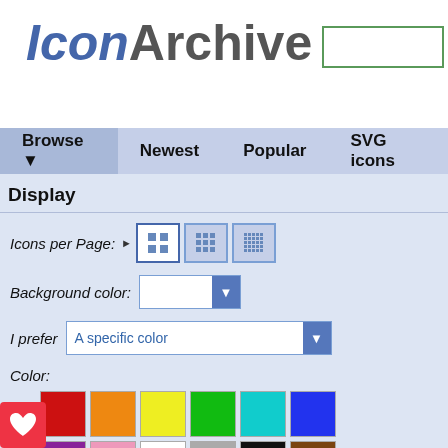IconArchive
Display
Icons per Page: [grid options]
Background color: [dropdown]
I prefer  A specific color [dropdown]
Color: [swatches] All Colors
Search Filters
Size: 48 x 48px [dropdown]
Category: Food [dropdown]
e: Photorealistic [dropdown]
[Figure (screenshot): Refresh Page button (green)]
Browse | Newest | Popular | SVG icons